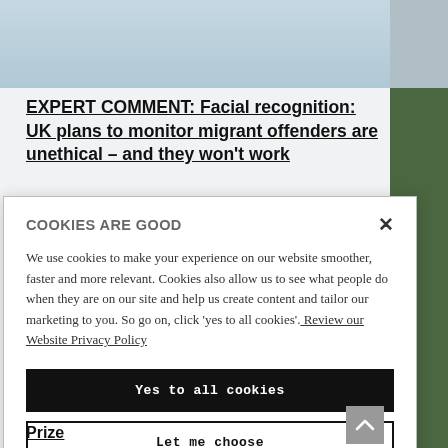[Figure (photo): Partial photo of a person in a light blue shirt, cropped at the top of the page]
EXPERT COMMENT: Facial recognition: UK plans to monitor migrant offenders are unethical – and they won't work
COOKIES ARE GOOD
We use cookies to make your experience on our website smoother, faster and more relevant. Cookies also allow us to see what people do when they are on our site and help us create content and tailor our marketing to you. So go on, click 'yes to all cookies'. Review our Website Privacy Policy
Yes to all cookies
Let me choose
Prize